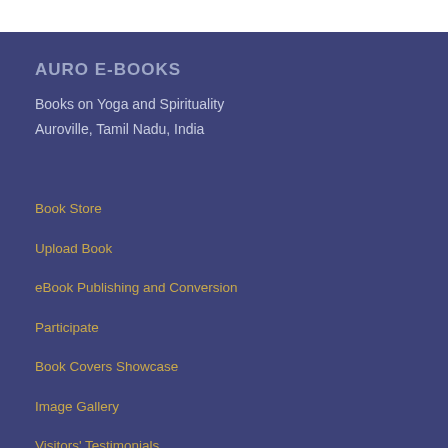AURO E-BOOKS
Books on Yoga and Spirituality
Auroville, Tamil Nadu, India
Book Store
Upload Book
eBook Publishing and Conversion
Participate
Book Covers Showcase
Image Gallery
Visitors' Testimonials